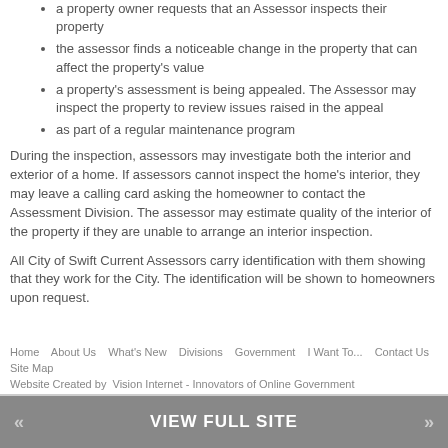a property owner requests that an Assessor inspects their property
the assessor finds a noticeable change in the property that can affect the property's value
a property's assessment is being appealed. The Assessor may inspect the property to review issues raised in the appeal
as part of a regular maintenance program
During the inspection, assessors may investigate both the interior and exterior of a home. If assessors cannot inspect the home's interior, they may leave a calling card asking the homeowner to contact the Assessment Division. The assessor may estimate quality of the interior of the property if they are unable to arrange an interior inspection.
All City of Swift Current Assessors carry identification with them showing that they work for the City. The identification will be shown to homeowners upon request.
Home | About Us | What's New | Divisions | Government | I Want To... | Contact Us | Site Map
Website Created by Vision Internet - Innovators of Online Government
<< VIEW FULL SITE >>